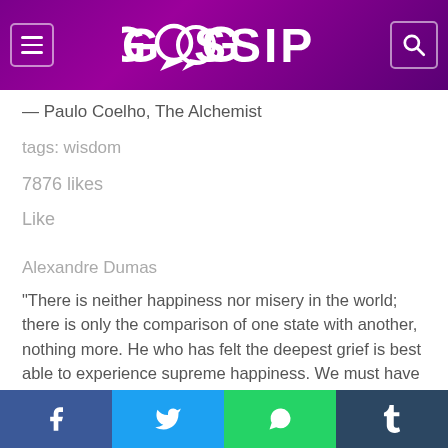GOSSIP
— Paulo Coelho, The Alchemist
tags: wisdom
7876 likes
Like
Alexandre Dumas
“There is neither happiness nor misery in the world; there is only the comparison of one state with another, nothing more. He who has felt the deepest grief is best able to experience supreme happiness. We must have felt what it is
Facebook Twitter WhatsApp Tumblr share buttons